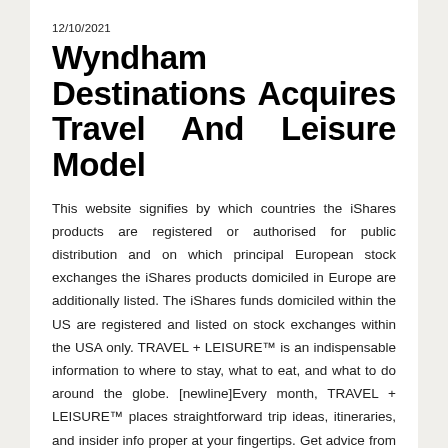12/10/2021
Wyndham Destinations Acquires Travel And Leisure Model
This website signifies by which countries the iShares products are registered or authorised for public distribution and on which principal European stock exchanges the iShares products domiciled in Europe are additionally listed. The iShares funds domiciled within the US are registered and listed on stock exchanges within the USA only. TRAVEL + LEISURE™ is an indispensable information to where to stay, what to eat, and what to do around the globe. [newline]Every month, TRAVEL + LEISURE™ places straightforward trip ideas, itineraries, and insider info proper at your fingertips. Get advice from our travel experts and view the magazine's award-winning pictures. The digital version of TRAVEL + LEISURE™ has all of the tools you have to take you the